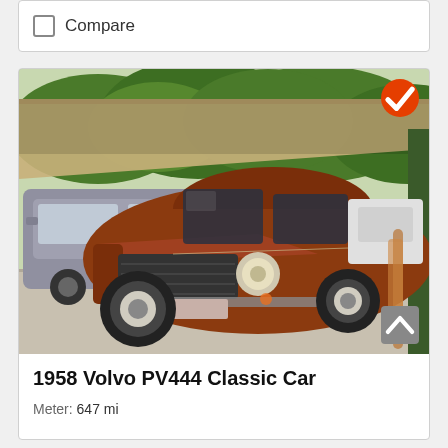Compare
[Figure (photo): A 1958 Volvo PV444 classic car in copper/brown color parked under a carport, with a silver SUV visible in the background. Trees visible in background. A verified badge (orange checkmark) is in the top-right corner of the image.]
1958 Volvo PV444 Classic Car
Meter: 647 mi